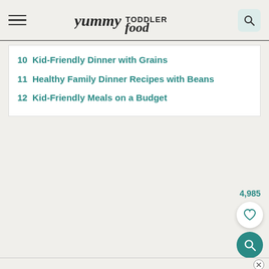yummy TODDLER food
10  Kid-Friendly Dinner with Grains
11  Healthy Family Dinner Recipes with Beans
12  Kid-Friendly Meals on a Budget